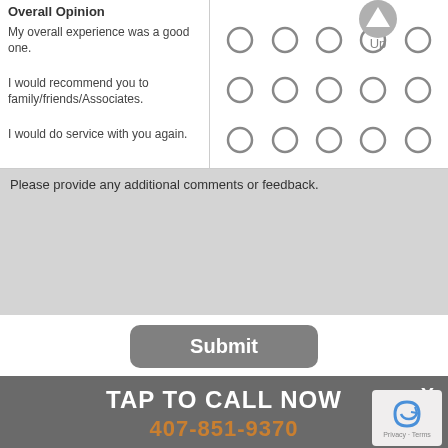Overall Opinion
My overall experience was a good one.
I would recommend you to family/friends/Associates.
I would do service with you again.
Please provide any additional comments or feedback.
Submit
TAP TO CALL NOW
407-851-9370